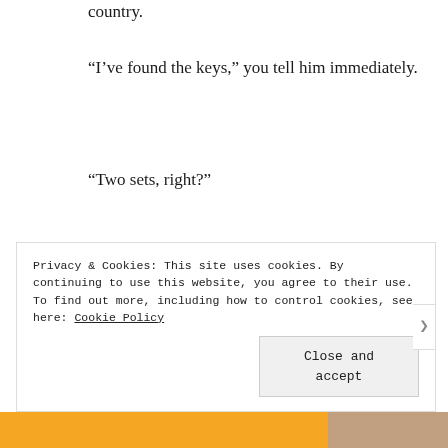country.
“I’ve found the keys,” you tell him immediately.
“Two sets, right?”
“Yeah.”
“I might want you to bring them to me at the airport,” he says. You wonder
Privacy & Cookies: This site uses cookies. By continuing to use this website, you agree to their use.
To find out more, including how to control cookies, see here: Cookie Policy
Close and accept